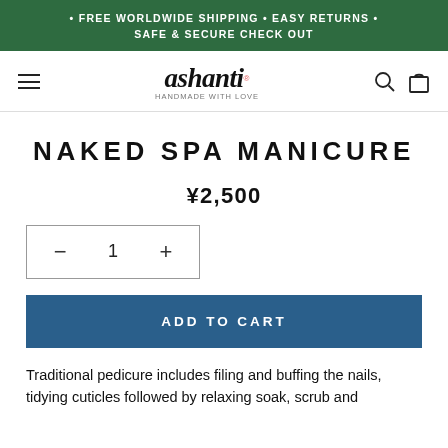• FREE WORLDWIDE SHIPPING • EASY RETURNS • SAFE & SECURE CHECK OUT
[Figure (logo): Ashanti logo with tagline 'handmade with love', navigation hamburger menu, search and cart icons]
NAKED SPA MANICURE
¥2,500
− 1 +
ADD TO CART
Traditional pedicure includes filing and buffing the nails, tidying cuticles followed by relaxing soak, scrub and